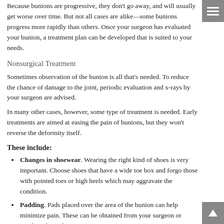Because bunions are progressive, they don't go away, and will usually get worse over time. But not all cases are alike—some bunions progress more rapidly than others. Once your surgeon has evaluated your bunion, a treatment plan can be developed that is suited to your needs.
Nonsurgical Treatment
Sometimes observation of the bunion is all that's needed. To reduce the chance of damage to the joint, periodic evaluation and x-rays by your surgeon are advised.
In many other cases, however, some type of treatment is needed. Early treatments are aimed at easing the pain of bunions, but they won't reverse the deformity itself.
These include:
Changes in shoewear. Wearing the right kind of shoes is very important. Choose shoes that have a wide toe box and forgo those with pointed toes or high heels which may aggravate the condition.
Padding. Pads placed over the area of the bunion can help minimize pain. These can be obtained from your surgeon or purchased at a drug store.
Activity modifications. Avoid activity that causes bunion pain, including standing for long periods of time.
Medications. Oral nonsteroidal anti-inflammatory drugs